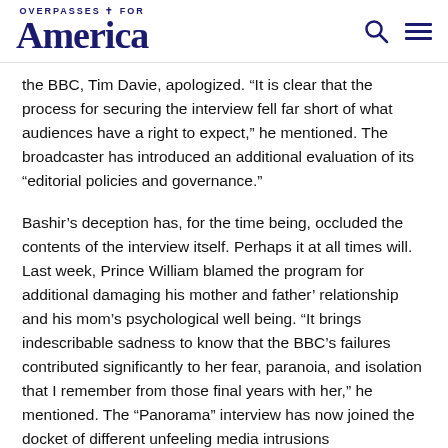OVERPASSES FOR America
the BBC, Tim Davie, apologized. “It is clear that the process for securing the interview fell far short of what audiences have a right to expect,” he mentioned. The broadcaster has introduced an additional evaluation of its “editorial policies and governance.”
Bashir’s deception has, for the time being, occluded the contents of the interview itself. Perhaps it at all times will. Last week, Prince William blamed the program for additional damaging his mother and father’ relationship and his mom’s psychological well being. “It brings indescribable sadness to know that the BBC’s failures contributed significantly to her fear, paranoia, and isolation that I remember from those final years with her,” he mentioned. The “Panorama” interview has now joined the docket of different unfeeling media intrusions